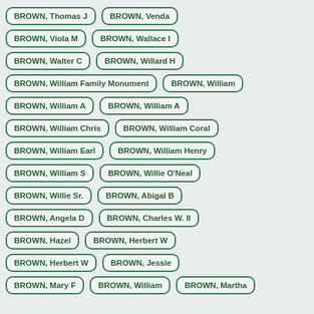BROWN, Thomas J
BROWN, Venda
BROWN, Viola M
BROWN, Wallace I
BROWN, Walter C
BROWN, Willard H
BROWN, William Family Monument
BROWN, William
BROWN, William A
BROWN, William A
BROWN, William Chris
BROWN, William Coral
BROWN, William Earl
BROWN, William Henry
BROWN, William S
BROWN, Willie O'Neal
BROWN, Willie Sr.
BROWN, Abigal B
BROWN, Angela D
BROWN, Charles W. II
BROWN, Hazel
BROWN, Herbert W
BROWN, Herbert W
BROWN, Jessie
BROWN, Mary F
BROWN, William
BROWN, Martha